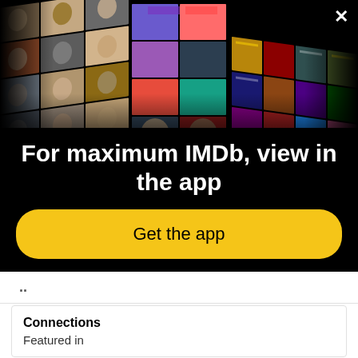[Figure (photo): IMDb app promotional overlay showing a mosaic collage of celebrity photos and movie posters arranged in a perspective grid on a black background, with a close (X) button in the top-right corner]
For maximum IMDb, view in the app
Get the app
..
Connections
Featured in